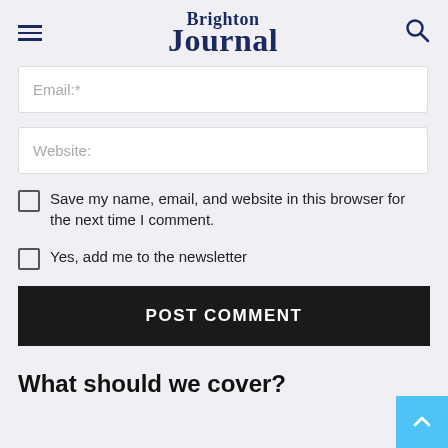Brighton Journal
Email:*
Website:
Save my name, email, and website in this browser for the next time I comment.
Yes, add me to the newsletter
POST COMMENT
What should we cover?